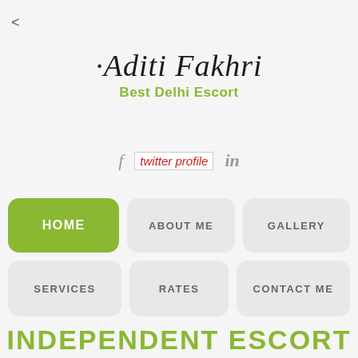<
Aditi Fakhri
Best Delhi Escort
[Figure (screenshot): Social media icons: Facebook f, twitter profile image (broken), LinkedIn in]
HOME
ABOUT ME
GALLERY
SERVICES
RATES
CONTACT ME
DELHI ESCORTS
INDEPENDENT ESCORT